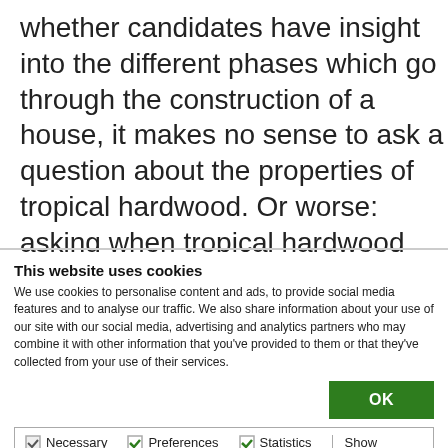whether candidates have insight into the different phases which go through the construction of a house, it makes no sense to ask a question about the properties of tropical hardwood. Or worse: asking when tropical hardwood was first used in construction.
This website uses cookies
We use cookies to personalise content and ads, to provide social media features and to analyse our traffic. We also share information about your use of our site with our social media, advertising and analytics partners who may combine it with other information that you've provided to them or that they've collected from your use of their services.
OK
Necessary  Preferences  Statistics  Marketing  Show details